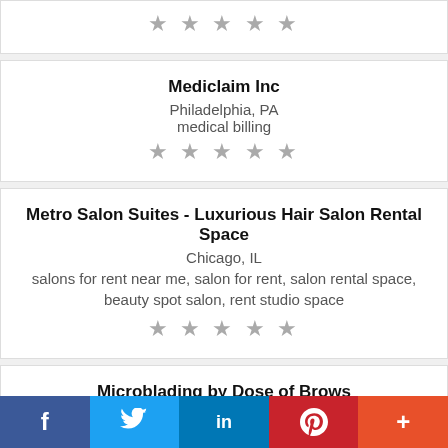[Figure (other): Five star rating (gray stars) for an unnamed listing at the top of the page]
Mediclaim Inc
Philadelphia, PA
medical billing
[Figure (other): Five gray star rating for Mediclaim Inc]
Metro Salon Suites - Luxurious Hair Salon Rental Space
Chicago, IL
salons for rent near me, salon for rent, salon rental space, beauty spot salon, rent studio space
[Figure (other): Five gray star rating for Metro Salon Suites]
Microblading by Dose of Brows
Sherman Oaks, CA
f  🐦  in  P  +